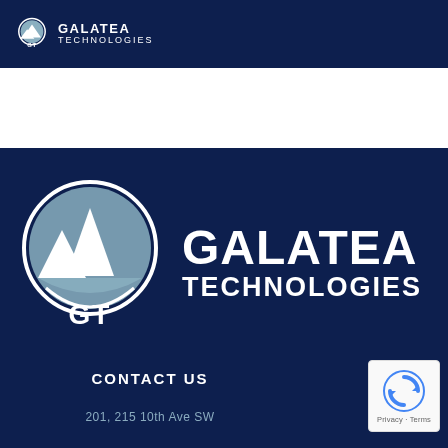[Figure (logo): Galatea Technologies logo in header bar: circular mountain/peak icon with GT text, next to GALATEA TECHNOLOGIES text in white on dark navy background]
[Figure (logo): Large Galatea Technologies logo centered on dark navy background: large circular mountain icon with GT, next to large GALATEA TECHNOLOGIES text in white]
CONTACT US
201, 215 10th Ave SW